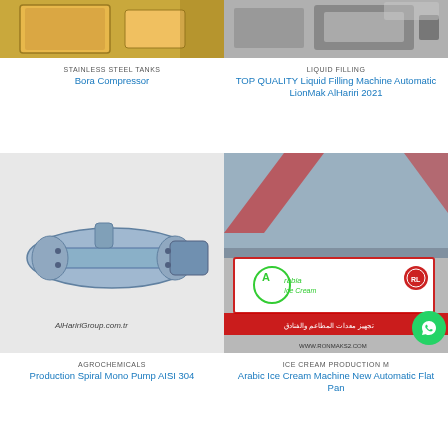[Figure (photo): Stainless steel tank with yellow liquid, industrial setting]
STAINLESS STEEL TANKS
Bora Compressor
[Figure (photo): Liquid filling machine automatic equipment]
LIQUID FILLING
TOP QUALITY Liquid Filling Machine Automatic LionMak AlHariri 2021
[Figure (photo): Production Spiral Mono Pump AISI 304, industrial pump illustration with AlHaririGroup.com.tr watermark]
AGROCHEMICALS
Production Spiral Mono Pump AISI 304
[Figure (photo): Arabia Ice Cream machine with red and white branding, Arabic text, WWW.RONMAKS2.COM, WhatsApp button overlay]
ICE CREAM PRODUCTION M
Arabic Ice Cream Machine New Automatic Flat Pan